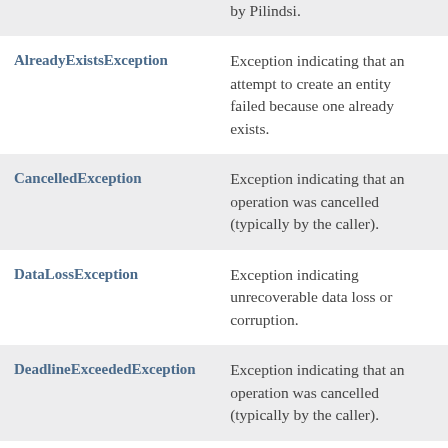| Class | Description |
| --- | --- |
| AlreadyExistsException | Exception indicating that an attempt to create an entity failed because one already exists. |
| CancelledException | Exception indicating that an operation was cancelled (typically by the caller). |
| DataLossException | Exception indicating unrecoverable data loss or corruption. |
| DeadlineExceededException | Exception indicating that an operation was cancelled (typically by the caller). |
| FailedPreconditionException | Exception indicating that operation was rejected because the |